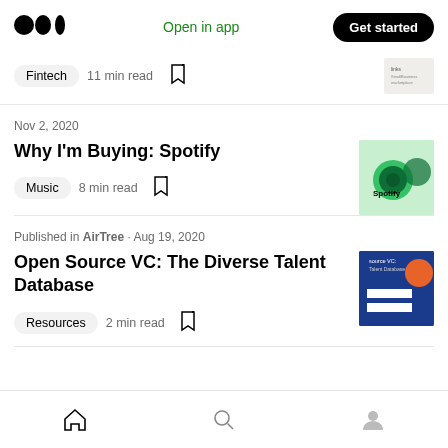Medium – Open in app – Get started
Fintech · 11 min read
Nov 2, 2020
Why I'm Buying: Spotify
Music · 8 min read
Published in AirTree · Aug 19, 2020
Open Source VC: The Diverse Talent Database
Resources · 2 min read
Home · Search · Profile